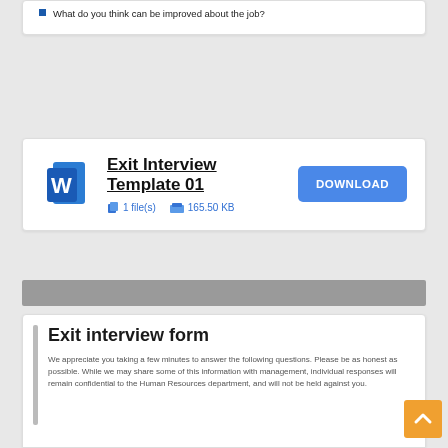What do you think can be improved about the job?
[Figure (other): Download card for Exit Interview Template 01, showing a Microsoft Word icon, file metadata (1 file(s), 165.50 KB), and a blue DOWNLOAD button]
[Figure (screenshot): Preview of Exit Interview Form document with title 'Exit interview form' and introductory text about confidentiality]
We appreciate you taking a few minutes to answer the following questions. Please be as honest as possible. While we may share some of this information with management, individual responses will remain confidential to the Human Resources department, and will not be held against you.